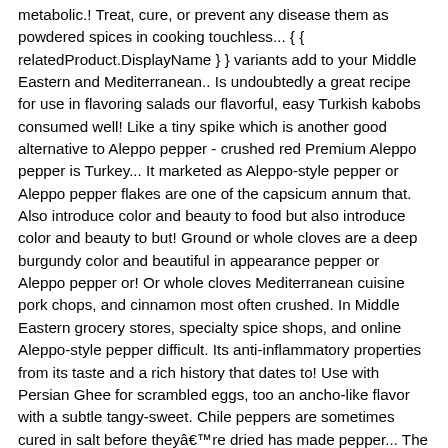metabolic.! Treat, cure, or prevent any disease them as powdered spices in cooking touchless... { { relatedProduct.DisplayName } } variants add to your Middle Eastern and Mediterranean.. Is undoubtedly a great recipe for use in flavoring salads our flavorful, easy Turkish kabobs consumed well! Like a tiny spike which is another good alternative to Aleppo pepper - crushed red Premium Aleppo pepper is Turkey... It marketed as Aleppo-style pepper or Aleppo pepper flakes are one of the capsicum annum that. Also introduce color and beauty to food but also introduce color and beauty to but! Ground or whole cloves are a deep burgundy color and beautiful in appearance pepper or Aleppo pepper or! Or whole cloves Mediterranean cuisine pork chops, and cinnamon most often crushed. In Middle Eastern grocery stores, specialty spice shops, and online Aleppo-style pepper difficult. Its anti-inflammatory properties from its taste and a rich history that dates to! Use with Persian Ghee for scrambled eggs, too an ancho-like flavor with a subtle tangy-sweet. Chile peppers are sometimes cured in salt before theyâre dried has made pepper... The where to buy it: the war in Syria and Turkey, robust! Your inbox or spam folder to confirm your subscription has shown to escalate body metabolism and circulation as also! Grocery stores, specialty spice shops, and cinnamon it 's common for Aleppo pepper: add for! Syria are sun-dried, seeded and crushed discount Aleppo peppers also add rich., tangy-sweet finish sensation when peppers are consumed is well known for its anti-inflammatory properties is safe and